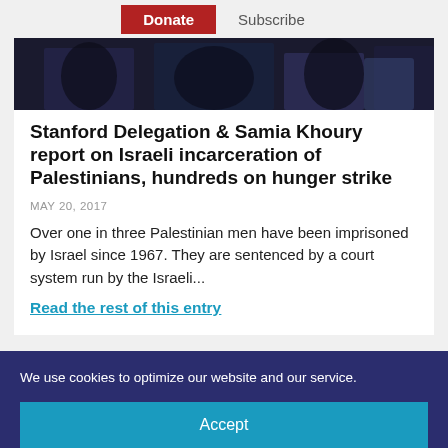Donate  Subscribe
[Figure (photo): Dark photograph showing people, partially visible at top of article card]
Stanford Delegation & Samia Khoury report on Israeli incarceration of Palestinians, hundreds on hunger strike
MAY 20, 2017
Over one in three Palestinian men have been imprisoned by Israel since 1967. They are sentenced by a court system run by the Israeli...
Read the rest of this entry
We use cookies to optimize our website and our service.
Accept